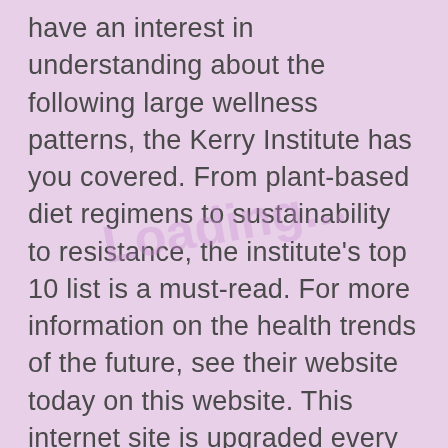have an interest in understanding about the following large wellness patterns, the Kerry Institute has you covered. From plant-based diet regimens to sustainability to resistance, the institute's top 10 list is a must-read. For more information on the health trends of the future, see their website today on this website. This internet site is upgraded every 6 months with the current fads now. Take a look at the most recent listing to discover what's warm this year. A major fad for the coming year is aggressive health and wellness, where people focus on improving the top quality of their day-to-day lives rather than concentrating on preventing or treating illnesses. While this pattern was already big in 2019, it will certainly acquire more grip in 2020 as well as 2021, when the COVID-19 pandemic is anticipated to hit the globe. The focus gets on food as medicine and naturally useful, as well as is everything about superfoods as well as other foods that have positive